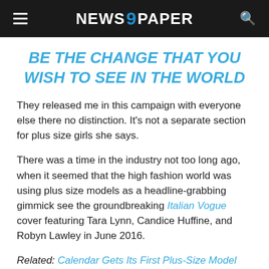NEWS 9 PAPER
BE THE CHANGE THAT YOU WISH TO SEE IN THE WORLD
They released me in this campaign with everyone else there no distinction. It's not a separate section for plus size girls she says.
There was a time in the industry not too long ago, when it seemed that the high fashion world was using plus size models as a headline-grabbing gimmick see the groundbreaking Italian Vogue cover featuring Tara Lynn, Candice Huffine, and Robyn Lawley in June 2016.
Related: Calendar Gets Its First Plus-Size Model 2016